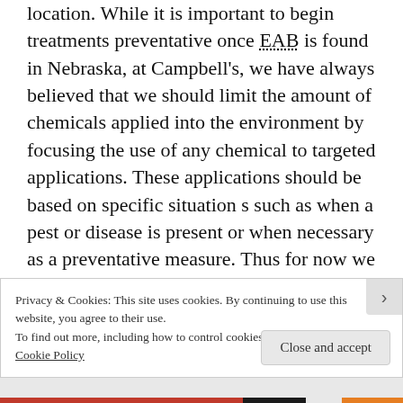location. While it is important to begin treatments preventative once EAB is found in Nebraska, at Campbell's, we have always believed that we should limit the amount of chemicals applied into the environment by focusing the use of any chemical to targeted applications. These applications should be based on specific situations such as when a pest or disease is present or when necessary as a preventative measure. Thus for now we are advocating waiting on preventative treatments for EAB until it is discovered closer to our area.
Privacy & Cookies: This site uses cookies. By continuing to use this website, you agree to their use.
To find out more, including how to control cookies, see here: Cookie Policy